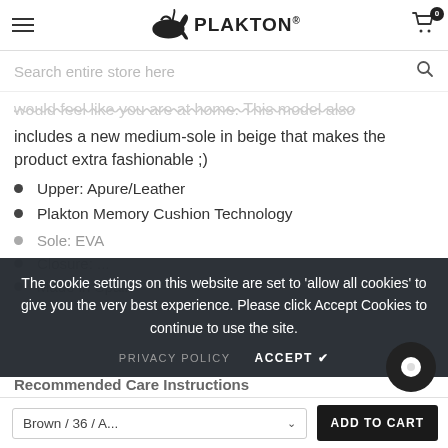PLAKTON® | Menu | Cart (0)
Search entire store here
would feel like you are at home. This model also includes a new medium-sole in beige that makes the product extra fashionable ;)
Upper: Apure/Leather
Plakton Memory Cushion Technology
Sole: EVA
Closure: ...
Made in Spain
The cookie settings on this website are set to 'allow all cookies' to give you the very best experience. Please click Accept Cookies to continue to use the site.
PRIVACY POLICY   ACCEPT ✔
Recommended Care Instructions
Brown / 36 / A...   ADD TO CART